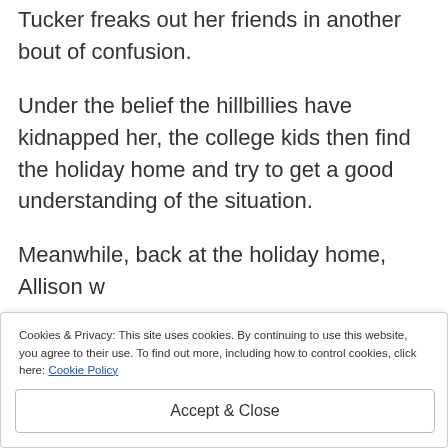Tucker freaks out her friends in another bout of confusion.
Under the belief the hillbillies have kidnapped her, the college kids then find the holiday home and try to get a good understanding of the situation.
Meanwhile, back at the holiday home, Allison w...
Cookies & Privacy: This site uses cookies. By continuing to use this website, you agree to their use. To find out more, including how to control cookies, click here: Cookie Policy
Accept & Close